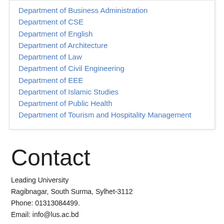Department of Business Administration
Department of CSE
Department of English
Department of Architecture
Department of Law
Department of Civil Engineering
Department of EEE
Department of Islamic Studies
Department of Public Health
Department of Tourism and Hospitality Management
Contact
Leading University
Ragibnagar, South Surma, Sylhet-3112
Phone: 01313084499.
Email: info@lus.ac.bd